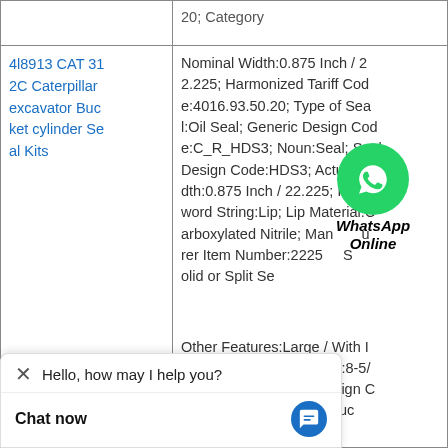| Product | Details |
| --- | --- |
|  | 20; Category |
| 4l8913 CAT 312C Caterpillar excavator Bucket cylinder Seal Kits | Nominal Width:0.875 Inch / 22.225; Harmonized Tariff Code:4016.93.50.20; Type of Seal:Oil Seal; Generic Design Code:C_R_HDS3; Noun:Seal; Seal Design Code:HDS3; Actual Width:0.875 Inch / 22.225; Keyword String:Lip; Lip Material:Carboxylated Nitrile; Manufacturer Item Number:22259; Solid or Split Se |
| excavator Bucket cylinder Se... | Other Features:Large / With Inner C; Long Description:8-5/8 Shaft Dia; Generic Design C...R_HDS1; Case Construc...Steel; Lip Retainer:Stainless Steel Gart; Manufacturer Name: SKF; Harmonized Tariff...93.50.20; Inch - M...eyword String:Lip; |
Hello, how may I help you?
Chat now